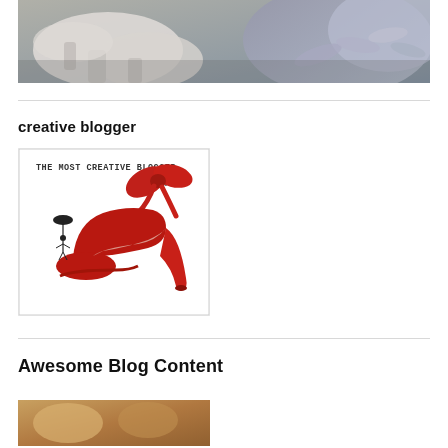[Figure (photo): Top banner photo showing white mushrooms and purple/silver foliage plants]
creative blogger
[Figure (illustration): The Most Creative Blogger Award image featuring a red high heel shoe with a red bow, and a small figure holding an umbrella]
Awesome Blog Content
[Figure (photo): Partial photo at bottom, appears to show food or nature content]